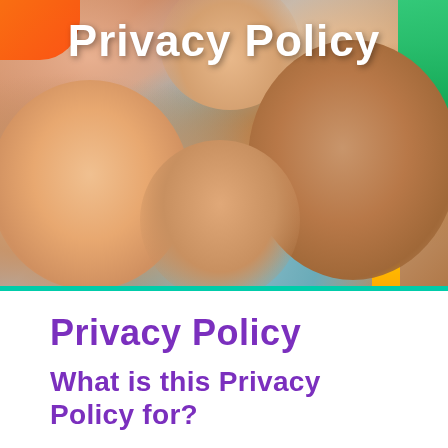[Figure (photo): Cover photo of children smiling with colorful toys in corners, with 'Privacy Policy' text overlaid in white]
Privacy Policy
Privacy Policy
What is this Privacy Policy for?